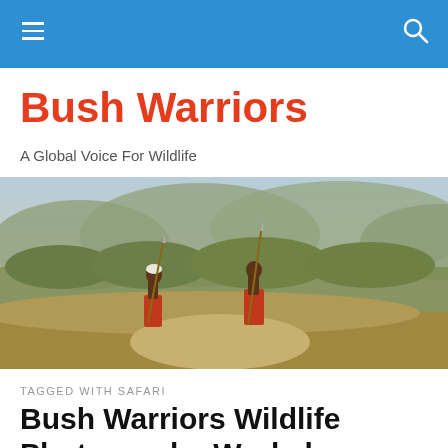Bush Warriors — navigation bar
Bush Warriors
A Global Voice For Wildlife
[Figure (photo): Two Maasai warriors with spears standing on rocky high ground overlooking a vast African savanna and forested hills under a hazy sky]
TAGGED WITH SAFARI
Bush Warriors Wildlife Photography Workshop: Hope